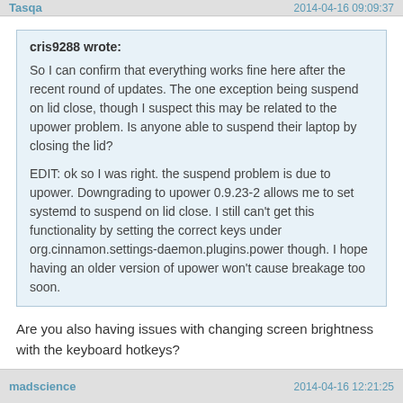Tasqa | 2014-04-16 09:09:37
cris9288 wrote:
So I can confirm that everything works fine here after the recent round of updates. The one exception being suspend on lid close, though I suspect this may be related to the upower problem. Is anyone able to suspend their laptop by closing the lid?

EDIT: ok so I was right. the suspend problem is due to upower. Downgrading to upower 0.9.23-2 allows me to set systemd to suspend on lid close. I still can't get this functionality by setting the correct keys under org.cinnamon.settings-daemon.plugins.power though. I hope having an older version of upower won't cause breakage too soon.
Are you also having issues with changing screen brightness with the keyboard hotkeys?
EDIT: This was with the 0.9.23-3 package, wehen upgrading to the latest the hotkeys work fine.
Last edited by Tasqa (2014-04-16 11:09:37)
madscience | 2014-04-16 12:21:25